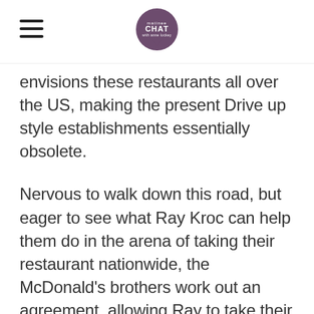Matinee CHAT
envisions these restaurants all over the US, making the present Drive up style establishments essentially obsolete.
Nervous to walk down this road, but eager to see what Ray Kroc can help them do in the arena of taking their restaurant nationwide, the McDonald's brothers work out an agreement, allowing Ray to take their restaurant idea back home to Illinois.
As Kroc manages to secure enough investors to make this franchising thing a